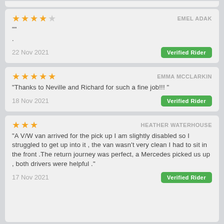EMEL ADAK — 4 stars — "" . — 22 Nov 2021 — Verified Rider
EMMA MCCLARKIN — 5 stars — "Thanks to Neville and Richard for such a fine job!!! " — 18 Nov 2021 — Verified Rider
HEATHER WATERHOUSE — 3 stars — "A V/W van arrived for the pick up I am slightly disabled so I struggled to get up into it , the van wasn't very clean I had to sit in the front .The return journey was perfect, a Mercedes picked us up , both drivers were helpful ." — 17 Nov 2021 — Verified Rider